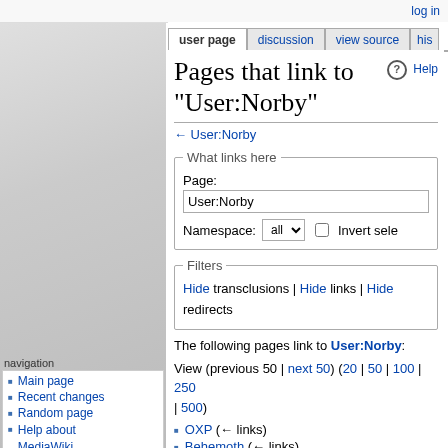log in
user page | discussion | view source | his
Pages that link to "User:Norby"
← User:Norby
What links here
Page: User:Norby
Namespace: all  Invert sele
Filters
Hide transclusions | Hide links | Hide redirects
The following pages link to User:Norby:
View (previous 50 | next 50) (20 | 50 | 100 | 250 | 500)
OXP  (← links)
Behemoth (← links)
navigation
Main page
Recent changes
Random page
Help about MediaWiki
search
tools
User contributions
Logs
View user groups
Special pages
Printable version